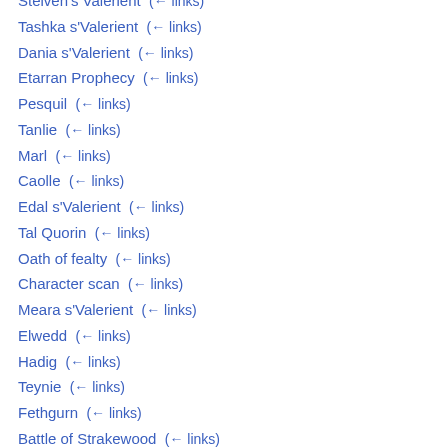Steiven's Valerient  (← links)
Tashka s'Valerient  (← links)
Dania s'Valerient  (← links)
Etarran Prophecy  (← links)
Pesquil  (← links)
Tanlie  (← links)
Marl  (← links)
Caolle  (← links)
Edal s'Valerient  (← links)
Tal Quorin  (← links)
Oath of fealty  (← links)
Character scan  (← links)
Meara s'Valerient  (← links)
Elwedd  (← links)
Hadig  (← links)
Teynie  (← links)
Fethgurn  (← links)
Battle of Strakewood  (← links)
Northern League of Headhunters  (← links)